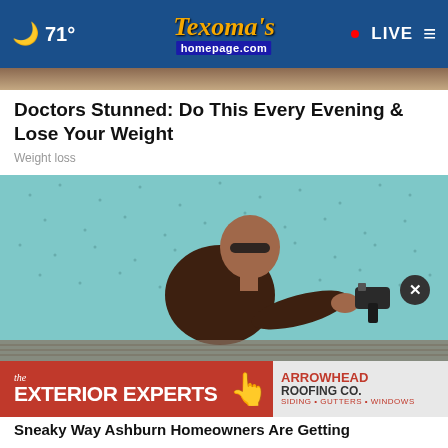🌙 71° | Texoma's homepage.com | • LIVE ≡
[Figure (photo): Top partial image strip showing brown/tan background (cropped top of scene)]
Doctors Stunned: Do This Every Evening & Lose Your Weight
Weight loss
[Figure (photo): A man wearing sunglasses and a dark t-shirt using a nail gun on a rooftop, with a light blue/teal background with small bird silhouettes]
[Figure (photo): Advertisement banner: The Exterior Experts - Arrowhead Roofing Co. Siding, Gutters, Windows]
Sneaky Way Ashburn Homeowners Are Getting